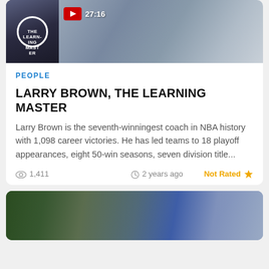[Figure (screenshot): Video thumbnail showing person, with YouTube play button badge and duration 27:16]
PEOPLE
LARRY BROWN, THE LEARNING MASTER
Larry Brown is the seventh-winningest coach in NBA history with 1,098 career victories. He has led teams to 18 playoff appearances, eight 50-win seasons, seven division title...
1,411   2 years ago   Not Rated ★
[Figure (photo): Street scene with people walking, partial view at bottom of page]